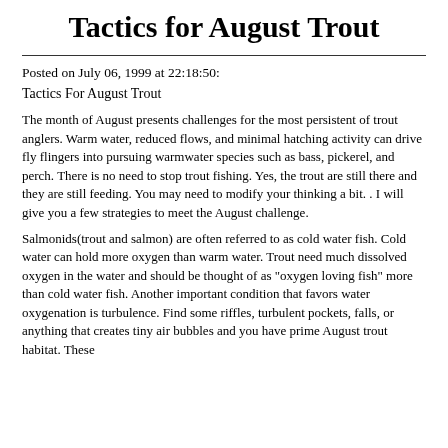Tactics for August Trout
Posted on July 06, 1999 at 22:18:50:
Tactics For August Trout
The month of August presents challenges for the most persistent of trout anglers. Warm water, reduced flows, and minimal hatching activity can drive fly flingers into pursuing warmwater species such as bass, pickerel, and perch. There is no need to stop trout fishing. Yes, the trout are still there and they are still feeding. You may need to modify your thinking a bit. . I will give you a few strategies to meet the August challenge.
Salmonids(trout and salmon) are often referred to as cold water fish. Cold water can hold more oxygen than warm water. Trout need much dissolved oxygen in the water and should be thought of as "oxygen loving fish" more than cold water fish. Another important condition that favors water oxygenation is turbulence. Find some riffles, turbulent pockets, falls, or anything that creates tiny air bubbles and you have prime August trout habitat. These